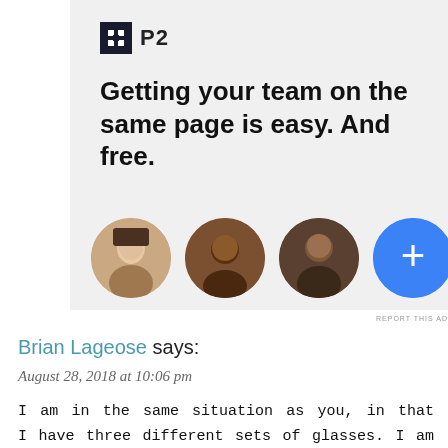[Figure (screenshot): Advertisement for P2 product. Shows P2 logo (square icon with letter H and 'P2' text), headline text 'Getting your team on the same page is easy. And free.', and three circular avatar photos plus a blue circle with a plus sign.]
REPORT THIS AD
Brian Lageose says:
August 28, 2018 at 10:06 pm
I am in the same situation as you, in that I have three different sets of glasses. I am always losing track of at least one pair, sometimes two or even all three. My partner finds it necessary to provide ongoing commentary about my inability to shepherd them all at once. Now that you